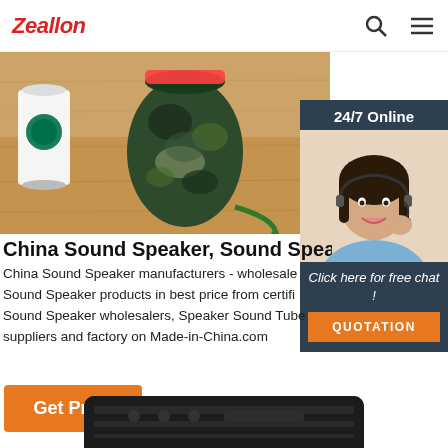Zeallon
[Figure (photo): Product banner showing a camouflage-patterned Bluetooth speaker next to a Starbucks cup on a wooden surface]
[Figure (photo): 24/7 Online customer service representative - woman with headset smiling, with 'Click here for free chat!' text and QUOTATION button]
China Sound Speaker, Sound Speaker Whol
China Sound Speaker manufacturers - wholesale Sound Speaker products in best price from certifi Sound Speaker wholesalers, Speaker Sound Tube suppliers and factory on Made-in-China.com
[Figure (photo): Bottom portion of a dark-colored speaker product partially visible at bottom of page]